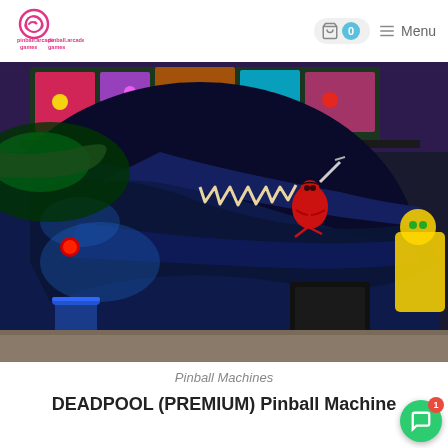pinball.arcade.games | 0 | Menu
[Figure (photo): A Deadpool Premium pinball machine showing the side artwork — a large dark creature with open jaws and a red-suited figure (Deadpool) fighting it, with the illuminated playfield visible at the top. A blue cup and yellow character figurine visible to the sides.]
Pinball Machines
DEADPOOL (PREMIUM) Pinball Machine